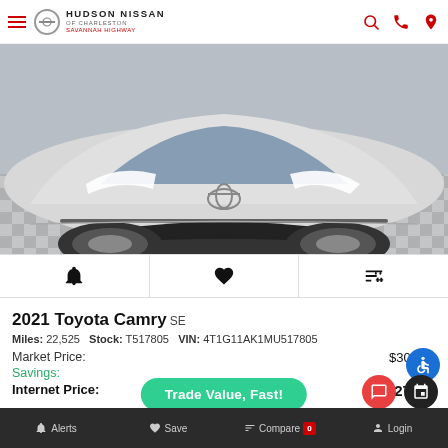Hudson Nissan of Charleston Savannah Highway
[Figure (photo): Front view of a silver 2021 Toyota Camry SE on a checkered floor showroom]
2021 Toyota Camry SE
Miles: 22,525   Stock: T517805   VIN: 4T1G11AK1MU517805
Market Price: $30,469
Savings: $2,...
Internet Price: $27,9...
Alerts   Save   Compare 0   Login